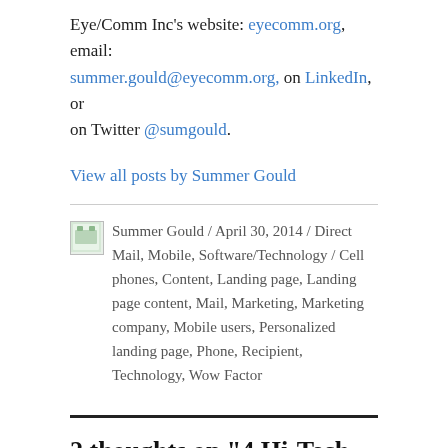Eye/Comm Inc’s website: eyecomm.org, email: summer.gould@eyecomm.org, on LinkedIn, or on Twitter @sumgould.
View all posts by Summer Gould
Summer Gould / April 30, 2014 / Direct Mail, Mobile, Software/Technology / Cell phones, Content, Landing page, Landing page content, Mail, Marketing, Marketing company, Mobile users, Personalized landing page, Phone, Recipient, Technology, Wow Factor
2 thoughts on “4 Hi-Tech Direct Mail Tricks”